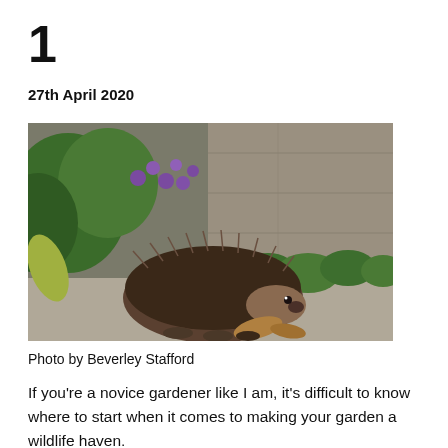1
27th April 2020
[Figure (photo): A hedgehog sitting on a stone/concrete surface next to a garden wall, surrounded by green plants and purple flowers.]
Photo by Beverley Stafford
If you’re a novice gardener like I am, it’s difficult to know where to start when it comes to making your garden a wildlife haven.